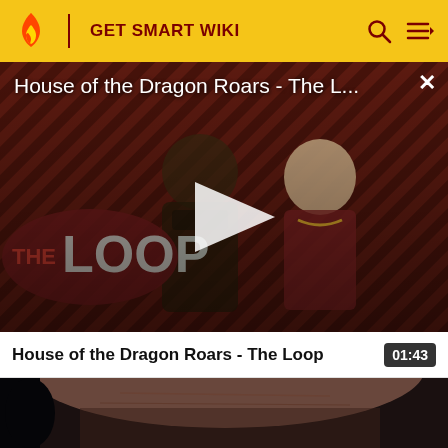GET SMART WIKI
[Figure (screenshot): Video player showing House of the Dragon Roars - The Loop with diagonal red and black striped background, two characters visible, play button in center, The Loop logo visible bottom left]
House of the Dragon Roars - The L...
House of the Dragon Roars - The Loop 01:43
[Figure (photo): Close-up of a man's face from the forehead to mid-face level against dark background]